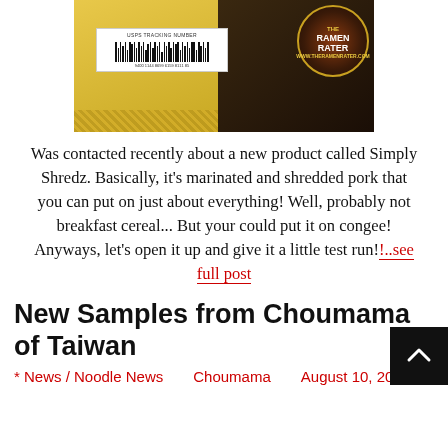[Figure (photo): A yellow padded envelope with a USPS tracking number barcode label and a circular 'The Ramen Rater' badge/sticker on a dark background]
Was contacted recently about a new product called Simply Shredz. Basically, it's marinated and shredded pork that you can put on just about everything! Well, probably not breakfast cereal... But your could put it on congee! Anyways, let's open it up and give it a little test run!…see full post
New Samples from Choumama of Taiwan
* News / Noodle News   Choumama   August 10, 2016 /